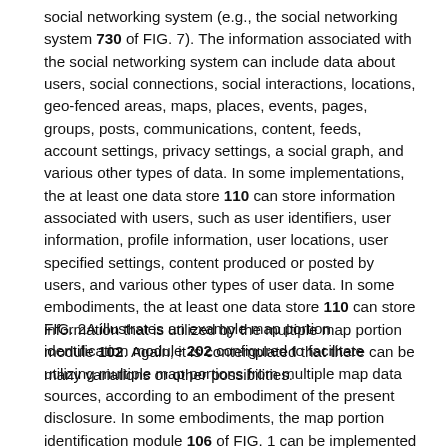social networking system (e.g., the social networking system 730 of FIG. 7). The information associated with the social networking system can include data about users, social connections, social interactions, locations, geo-fenced areas, maps, places, events, pages, groups, posts, communications, content, feeds, account settings, privacy settings, a social graph, and various other types of data. In some implementations, the at least one data store 110 can store information associated with users, such as user identifiers, user information, profile information, user locations, user specified settings, content produced or posted by users, and various other types of user data. In some embodiments, the at least one data store 110 can store information that is utilized by the multiple map portion module 102. Again, it is contemplated that there can be many variations or other possibilities.
FIG. 2A illustrates an example map portion identification module 202 configured to facilitate utilizing multiple map portions from multiple map data sources, according to an embodiment of the present disclosure. In some embodiments, the map portion identification module 106 of FIG. 1 can be implemented as the example map portion